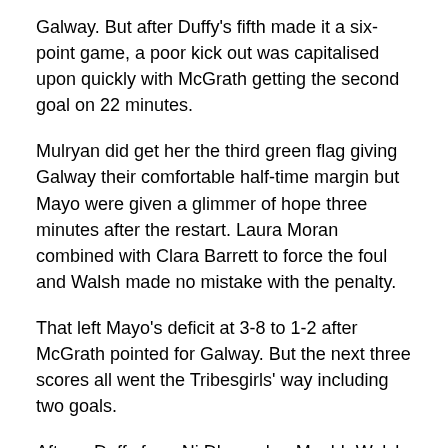Galway.  But after Duffy's fifth made it a six-point game, a poor kick out was capitalised upon quickly with McGrath getting the second goal on 22 minutes.
Mulryan did get her the third green flag giving Galway their comfortable half-time margin but Mayo were given a glimmer of hope three minutes after the restart.  Laura Moran combined with Clara Barrett to force the foul and Walsh made no mistake with the penalty.
That left Mayo's deficit at 3-8 to 1-2 after McGrath pointed for Galway.  But the next three scores all went the Tribesgirls' way including two goals.
After a Duffy free, Ni Dhonncha, Maebh Walsh were the provider for Mulryan's second goal.  And Laura Scanlon's run on 38 minutes gave Ni Dhonncha her major to put their